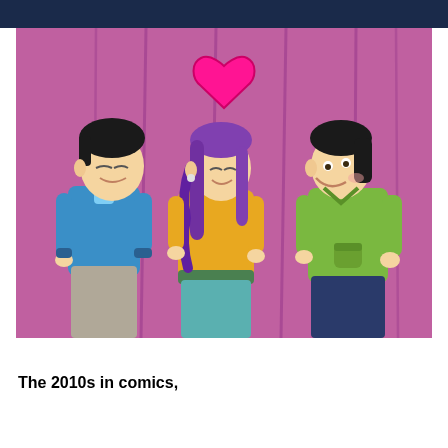[Figure (illustration): Comic-style illustration on a pink/magenta background showing three cartoon teenagers standing. On the left, a boy in a blue sweater with eyes closed faces right. In the center, a girl with long purple hair and a yellow sweater faces right with a small smile, with a bright pink heart floating above her head. On the right, a boy in a green hoodie with dark hair faces left smiling.]
The 2010s in comics,